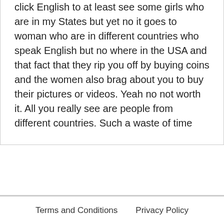click English to at least see some girls who are in my States but yet no it goes to woman who are in different countries who speak English but no where in the USA and that fact that they rip you off by buying coins and the women also brag about you to buy their pictures or videos. Yeah no not worth it. All you really see are people from different countries. Such a waste of time
I was ask from a friend to download one since I don't have other social media. But upon verification code message through phone, it seems that its having a hard time sending me one. I mean through Oye talk (i dont know if its coming from the same developer or not) instantly provide me the verification code as i put in my phone number. Please have this issue fix
Terms and Conditions   Privacy Policy